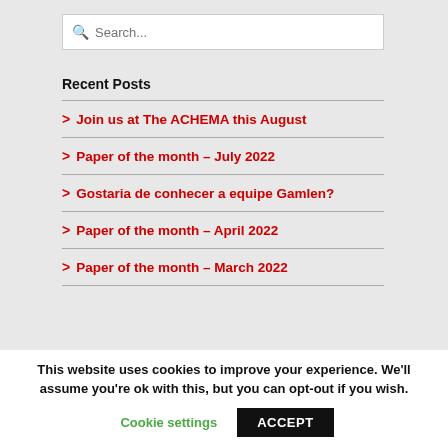[Figure (screenshot): Search input box with magnifying glass icon and placeholder text 'Search...']
Recent Posts
> Join us at The ACHEMA this August
> Paper of the month – July 2022
> Gostaria de conhecer a equipe Gamlen?
> Paper of the month – April 2022
> Paper of the month – March 2022
This website uses cookies to improve your experience. We'll assume you're ok with this, but you can opt-out if you wish.
Cookie settings  ACCEPT